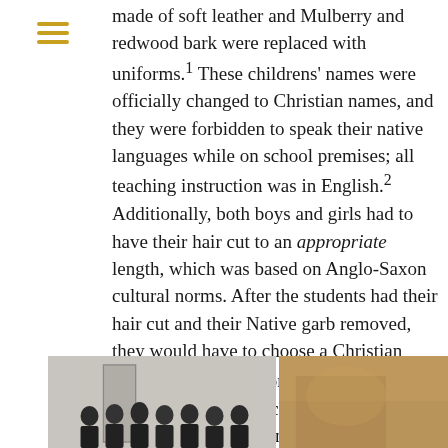☰
made of soft leather and Mulberry and redwood bark were replaced with uniforms.¹ These childrens' names were officially changed to Christian names, and they were forbidden to speak their native languages while on school premises; all teaching instruction was in English.² Additionally, both boys and girls had to have their hair cut to an appropriate length, which was based on Anglo-Saxon cultural norms. After the students had their hair cut and their Native garb removed, they would have to choose a Christian denomination.³ The one connection the students had to their culture was one ritual dance that was performed by the students for the comic entertainment for visitors. Any other traditional dances or rituals were prohibited.⁴ How did this school come about?
[Figure (photo): Two historical photographs side by side at the bottom of the page. The left photo shows a group of people (students) in black and white. The right photo shows another historical image with a warm sepia/brown tone.]